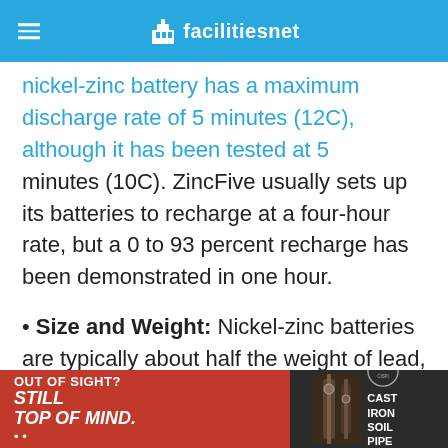facilitiesnet
nickel-zinc battery has a maximum discharge rate of 5 minutes (12C), although it has been tested at 5 minutes (10C). ZincFive usually sets up its batteries to recharge at a four-hour rate, but a 0 to 93 percent recharge has been demonstrated in one hour.
Size and Weight: Nickel-zinc batteries are typically about half the weight of lead, and have a smaller volume size based on power density than lead acid or lithium batteries. Their footprint is comparable to lithium batteries, although some lithium systems have smaller footprints.
[Figure (advertisement): Cast Iron Soil Pipe Institute advertisement with red background on left reading OUT OF SIGHT? STILL TOP OF MIND... and dark background on right with pipe imagery and logo]